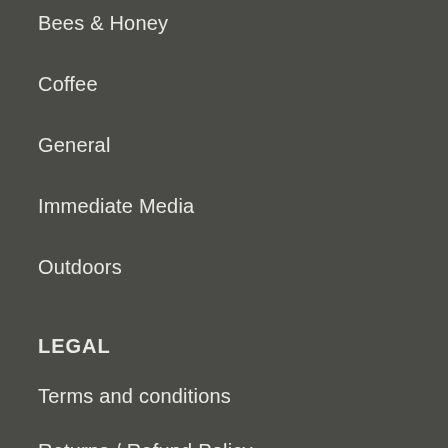Bees & Honey
Coffee
General
Immediate Media
Outdoors
LEGAL
Terms and conditions
Returns / Refund Policy
Shipping Policy
SOCIAL MEDIA